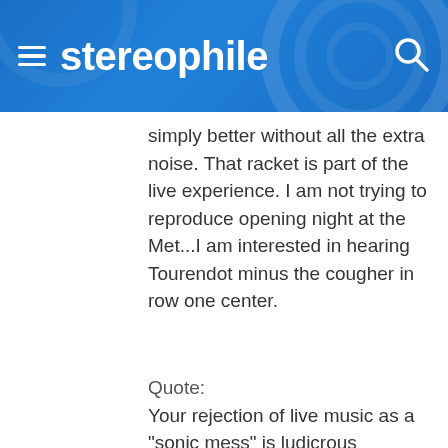stereophile
simply better without all the extra noise. That racket is part of the live experience. I am not trying to reproduce opening night at the Met...I am interested in hearing Tourendot minus the cougher in row one center.
Quote:
Your rejection of live music as a "sonic mess" is ludicrous